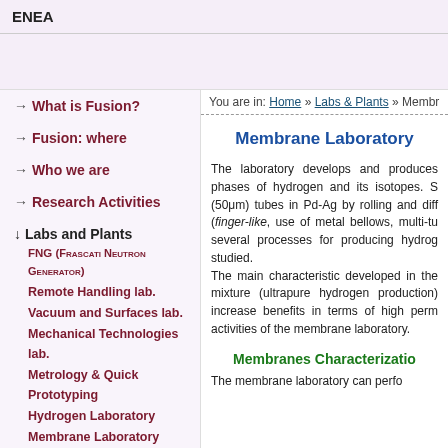ENEA
→ What is Fusion?
→ Fusion: where
→ Who we are
→ Research Activities
↓ Labs and Plants
FNG (Frascati Neutron Generator)
Remote Handling lab.
Vacuum and Surfaces lab.
Mechanical Technologies lab.
Metrology & Quick Prototyping
Hydrogen Laboratory
Membrane Laboratory
Liquefier plant
Thin Film Deposition lab.
SEM Microscopy lab.
X-RAY Diffractometry lab.
Electric Measurements lab.
Magnetic Measurements lab.
You are in: Home » Labs & Plants » Membr...
Membrane Laboratory
The laboratory develops and produces phases of hydrogen and its isotopes. S... (50μm) tubes in Pd-Ag by rolling and diff... (finger-like, use of metal bellows, multi-tu... several processes for producing hydrog... studied. The main characteristic developed in the... mixture (ultrapure hydrogen production)... increase benefits in terms of high perm... activities of the membrane laboratory.
Membranes Characterization
The membrane laboratory can perfo...